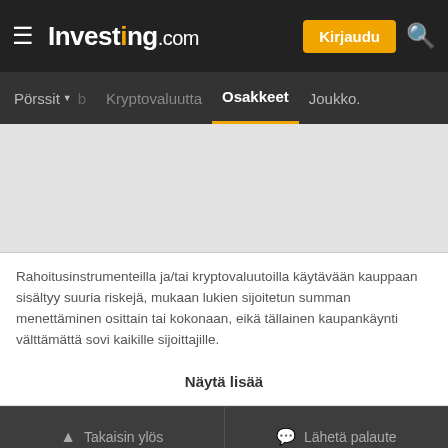Investing.com — Pörssit, Kryptovaluutta, Osakkeet, Joukko.
Rahoitusinstrumenteilla ja/tai kryptovaluutoilla käytävään kauppaan sisältyy suuria riskejä, mukaan lukien sijoitetun summan menettäminen osittain tai kokonaan, eikä tällainen kaupankäynti välttämättä sovi kaikille sijoittajille.
Näytä lisää
Takaisin ylös   Lähetä palaute
Pöytätietokoneversio